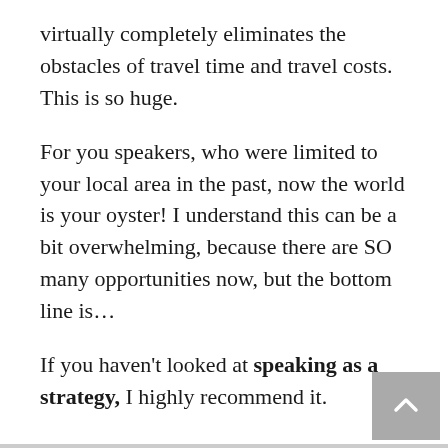virtually completely eliminates the obstacles of travel time and travel costs. This is so huge.
For you speakers, who were limited to your local area in the past, now the world is your oyster! I understand this can be a bit overwhelming, because there are SO many opportunities now, but the bottom line is...
If you haven't looked at speaking as a strategy, I highly recommend it.
Remember: Speaking Gigs = Money in the Bank